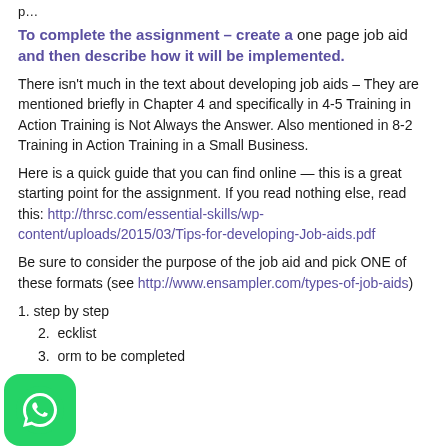p...
To complete the assignment – create a one page job aid and then describe how it will be implemented.
There isn't much in the text about developing job aids – They are mentioned briefly in Chapter 4 and specifically in 4-5 Training in Action Training is Not Always the Answer. Also mentioned in 8-2 Training in Action Training in a Small Business.
Here is a quick guide that you can find online — this is a great starting point for the assignment. If you read nothing else, read this: http://thrsc.com/essential-skills/wp-content/uploads/2015/03/Tips-for-developing-Job-aids.pdf
Be sure to consider the purpose of the job aid and pick ONE of these formats (see http://www.ensampler.com/types-of-job-aids)
1. step by step
2. checklist
3. form to be completed